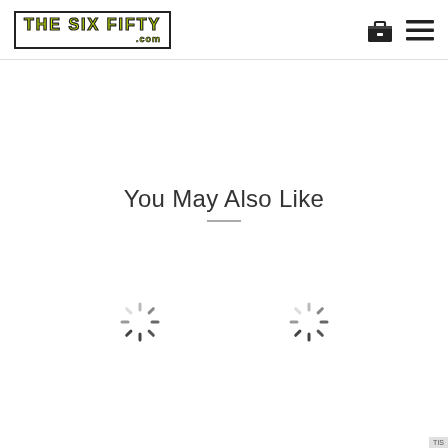THE SIX FIFTY .com
You May Also Like
[Figure (illustration): Two loading spinner icons shown side by side, indicating content is loading]
TIS